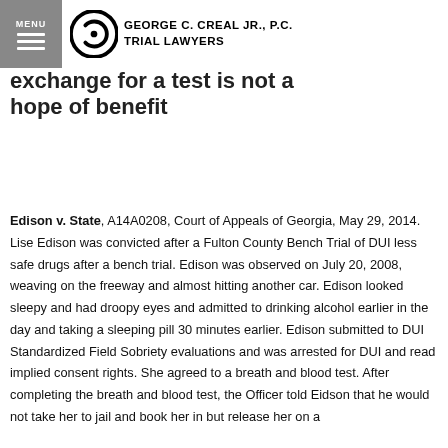MENU | GEORGE C. CREAL JR., P.C. TRIAL LAWYERS
exchange for a test is not a hope of benefit
Edison v. State, A14A0208, Court of Appeals of Georgia, May 29, 2014. Lise Edison was convicted after a Fulton County Bench Trial of DUI less safe drugs after a bench trial. Edison was observed on July 20, 2008, weaving on the freeway and almost hitting another car. Edison looked sleepy and had droopy eyes and admitted to drinking alcohol earlier in the day and taking a sleeping pill 30 minutes earlier. Edison submitted to DUI Standardized Field Sobriety evaluations and was arrested for DUI and read implied consent rights. She agreed to a breath and blood test. After completing the breath and blood test, the Officer told Eidson that he would not take her to jail and book her in but release her on a